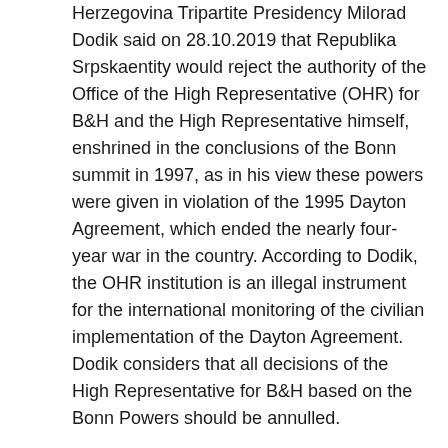Herzegovina Tripartite Presidency Milorad Dodik said on 28.10.2019 that Republika Srpskaentity would reject the authority of the Office of the High Representative (OHR) for B&H and the High Representative himself, enshrined in the conclusions of the Bonn summit in 1997, as in his view these powers were given in violation of the 1995 Dayton Agreement, which ended the nearly four-year war in the country. According to Dodik, the OHR institution is an illegal instrument for the international monitoring of the civilian implementation of the Dayton Agreement. Dodik considers that all decisions of the High Representative for B&H based on the Bonn Powers should be annulled.
The Peace Implementation Council in B&H agreed at the meeting in Bonn in December 1997 to delegate its rights to the OHR for B&H with the aim to prevent nationalist leaders from delaying or hindering the implementation of the Dayton Agreement. President of the said...